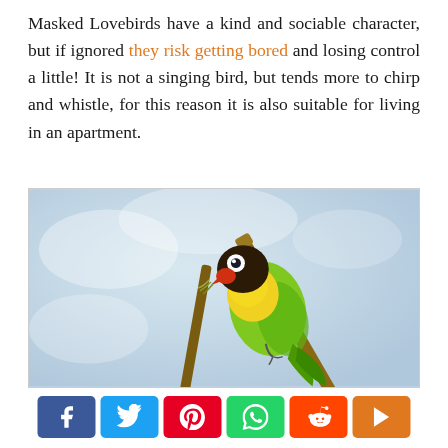Masked Lovebirds have a kind and sociable character, but if ignored they risk getting bored and losing control a little! It is not a singing bird, but tends more to chirp and whistle, for this reason it is also suitable for living in an apartment.
[Figure (photo): A Masked Lovebird (yellow-collared lovebird) perched on a branch, holding nesting material in its beak. The bird has a dark brown/black head, white eye ring, red beak, yellow breast and green body. Background is soft blurred light blue/white.]